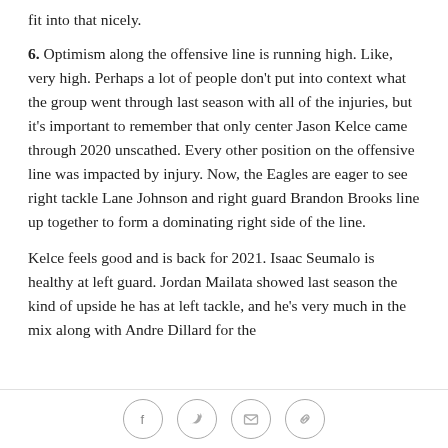fit into that nicely.
6. Optimism along the offensive line is running high. Like, very high. Perhaps a lot of people don't put into context what the group went through last season with all of the injuries, but it's important to remember that only center Jason Kelce came through 2020 unscathed. Every other position on the offensive line was impacted by injury. Now, the Eagles are eager to see right tackle Lane Johnson and right guard Brandon Brooks line up together to form a dominating right side of the line.
Kelce feels good and is back for 2021. Isaac Seumalo is healthy at left guard. Jordan Mailata showed last season the kind of upside he has at left tackle, and he's very much in the mix along with Andre Dillard for the
[social share icons: Facebook, Twitter, Email, Link]